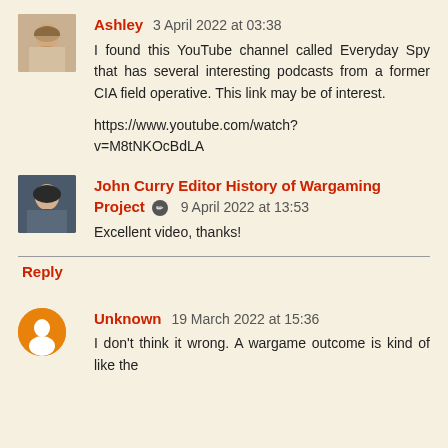Ashley 3 April 2022 at 03:38
I found this YouTube channel called Everyday Spy that has several interesting podcasts from a former CIA field operative. This link may be of interest.

https://www.youtube.com/watch?v=M8tNKOcBdLA
John Curry Editor History of Wargaming Project 9 April 2022 at 13:53
Excellent video, thanks!
Reply
Unknown 19 March 2022 at 15:36
I don't think it wrong. A wargame outcome is kind of like the